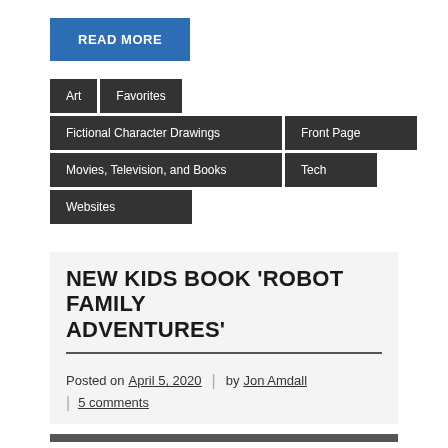READ MORE
Art
Favorites
Fictional Character Drawings
Front Page
Movies, Television, and Books
Tech
Websites
NEW KIDS BOOK 'ROBOT FAMILY ADVENTURES'
Posted on April 5, 2020 | by Jon Amdall | 5 comments